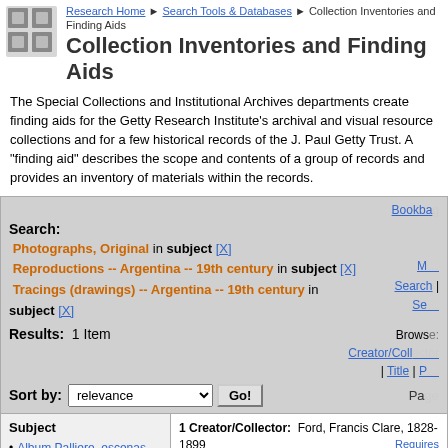Research Home > Search Tools & Databases > Collection Inventories and Finding Aids
Collection Inventories and Finding Aids
The Special Collections and Institutional Archives departments create finding aids for the Getty Research Institute's archival and visual resource collections and for a few historical records of the J. Paul Getty Trust. A "finding aid" describes the scope and contents of a group of records and provides an inventory of materials within the records.
Bookba[ckbag]
Search: Photographs, Original in subject [X] Reproductions -- Argentina -- 19th century in subject [X] Tracings (drawings) -- Argentina -- 19th century in subject [X]
Results: 1 Item
Browse: Creator/Coll[ector] | Title | P[age]
Sort by: relevance  Go!  Pa[ge]
Subject
Album Palliere, escenas americanas (1)
Albumen (1)
1 Creator/Collector: Ford, Francis Clare, 1828-1899
Title: Album de [vistas]
Requires cookie*